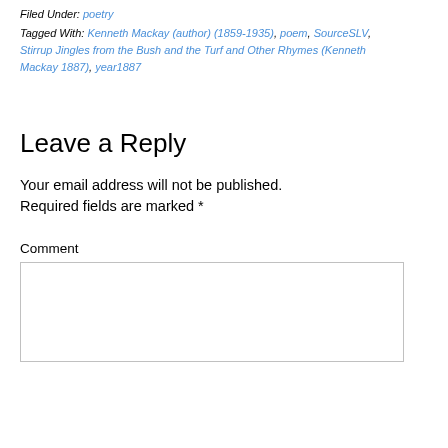Filed Under: poetry
Tagged With: Kenneth Mackay (author) (1859-1935), poem, SourceSLV, Stirrup Jingles from the Bush and the Turf and Other Rhymes (Kenneth Mackay 1887), year1887
Leave a Reply
Your email address will not be published. Required fields are marked *
Comment